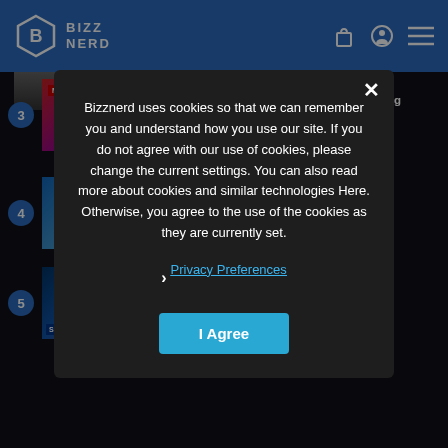BIZZ NERD
3 Why is Multiversus Dominating the Gaming Scene?
4 [partially visible] ...rid by
5 [partially visible] ...ookies in our Classic Games
Bizznerd uses cookies so that we can remember you and understand how you use our site. If you do not agree with our use of cookies, please change the current settings. You can also read more about cookies and similar technologies Here. Otherwise, you agree to the use of the cookies as they are currently set.
Privacy Preferences
I Agree